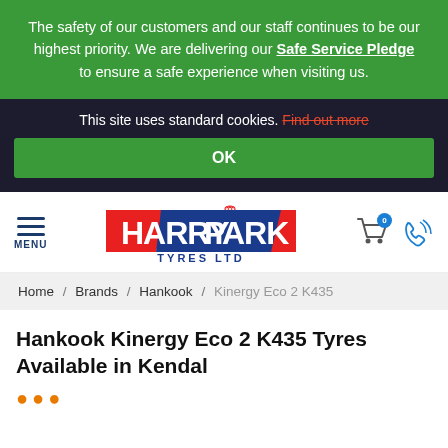The safety of our customers and our staff continues to be our highest priority. We are delivering our Safe Service Pledge to ensure a safe experience when visiting us.
This site uses standard cookies. Find out more
OK
HARRYPARK TYRES LTD — MENU / Cart (0) / Phone
Home / Brands / Hankook / Kinergy Eco 2 K435
Hankook Kinergy Eco 2 K435 Tyres Available in Kendal